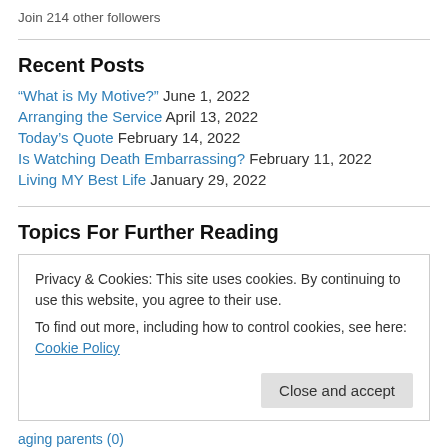Join 214 other followers
Recent Posts
“What is My Motive?” June 1, 2022
Arranging the Service April 13, 2022
Today’s Quote February 14, 2022
Is Watching Death Embarrassing? February 11, 2022
Living MY Best Life January 29, 2022
Topics For Further Reading
Privacy & Cookies: This site uses cookies. By continuing to use this website, you agree to their use. To find out more, including how to control cookies, see here: Cookie Policy
aging parents (0)